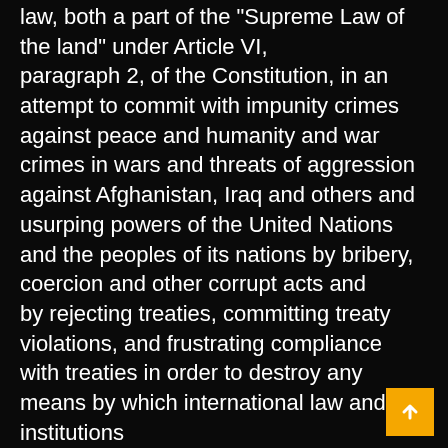law, both a part of the "Supreme Law of the land" under Article VI, paragraph 2, of the Constitution, in an attempt to commit with impunity crimes against peace and humanity and war crimes in wars and threats of aggression against Afghanistan, Iraq and others and usurping powers of the United Nations and the peoples of its nations by bribery, coercion and other corrupt acts and by rejecting treaties, committing treaty violations, and frustrating compliance with treaties in order to destroy any means by which international law and institutions can prevent, affect, or adjudicate the exercise of U.S. military and economic power against the international community.